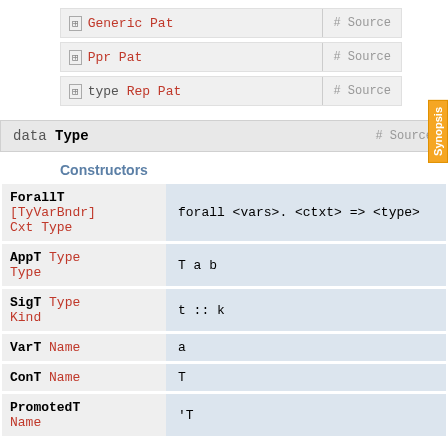⊞ Generic Pat   # Source
⊞ Ppr Pat   # Source
⊞ type Rep Pat   # Source
data Type   # Source
Constructors
| Constructor | Description |
| --- | --- |
| ForallT [TyVarBndr] Cxt Type | forall <vars>. <ctxt> => <type> |
| AppT Type Type | T a b |
| SigT Type Kind | t :: k |
| VarT Name | a |
| ConT Name | T |
| PromotedT Name | 'T |